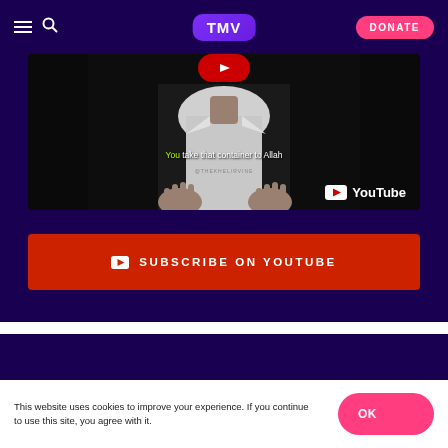TMV | DONATE
[Figure (screenshot): YouTube video still showing a person in a white shirt with text 'You take that container to Allah' overlaid, with YouTube logo in bottom right corner]
SUBSCRIBE ON YOUTUBE
This website uses cookies to improve your experience. If you continue to use this site, you agree with it.
OK